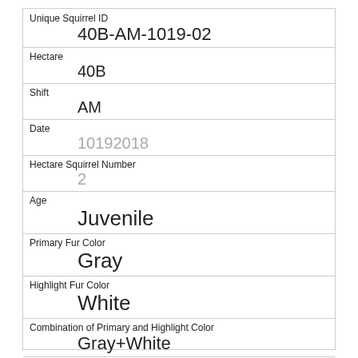| Unique Squirrel ID | 40B-AM-1019-02 |
| Hectare | 40B |
| Shift | AM |
| Date | 10192018 |
| Hectare Squirrel Number | 2 |
| Age | Juvenile |
| Primary Fur Color | Gray |
| Highlight Fur Color | White |
| Combination of Primary and Highlight Color | Gray+White |
| Color notes |  |